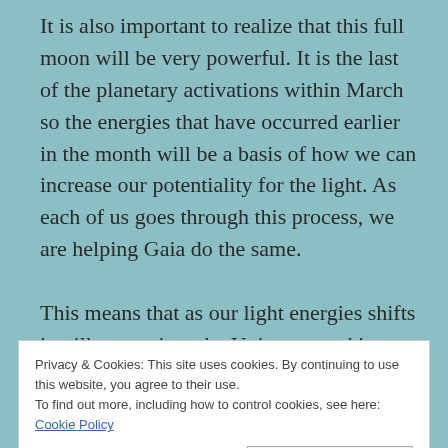It is also important to realize that this full moon will be very powerful. It is the last of the planetary activations within March so the energies that have occurred earlier in the month will be a basis of how we can increase our potentiality for the light. As each of us goes through this process, we are helping Gaia do the same.

This means that as our light energies shifts it will go out into the Universe, and into other souls upon this earth. This is the only way that we can make these necessary changes. We must work within ourselves
Privacy & Cookies: This site uses cookies. By continuing to use this website, you agree to their use.
To find out more, including how to control cookies, see here: Cookie Policy
This moon in Aries carries with it a Lunar Eclipse